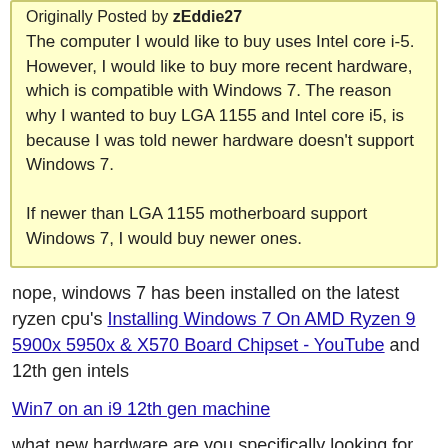Originally Posted by zEddie27
The computer I would like to buy uses Intel core i-5. However, I would like to buy more recent hardware, which is compatible with Windows 7. The reason why I wanted to buy LGA 1155 and Intel core i5, is because I was told newer hardware doesn't support Windows 7.

If newer than LGA 1155 motherboard support Windows 7, I would buy newer ones.
nope, windows 7 has been installed on the latest ryzen cpu's Installing Windows 7 On AMD Ryzen 9 5900x 5950x & X570 Board Chipset - YouTube and 12th gen intels
Win7 on an i9 12th gen machine
what new hardware are you specifically looking for,